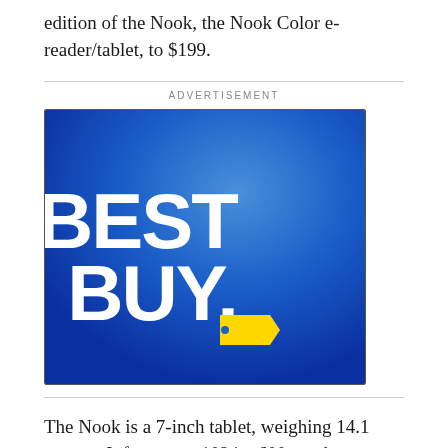edition of the Nook, the Nook Color e-reader/tablet, to $199.
[Figure (logo): Best Buy logo — white bold text 'BEST BUY.' with a yellow price tag icon on a blue gradient background]
The Nook is a 7-inch tablet, weighing 14.1 ounces. It features a 1024 x 600 touch screen. It will come